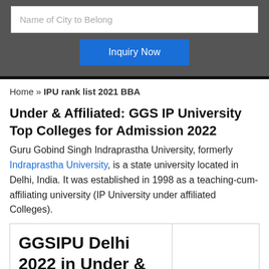[Figure (screenshot): Web form with a text input labeled 'Name of City to Belong' and a blue 'Inquiry Now' button on a dark grey background]
Home » IPU rank list 2021 BBA
Under & Affiliated: GGS IP University Top Colleges for Admission 2022
Guru Gobind Singh Indraprastha University, formerly Indraprastha University, is a state university located in Delhi, India. It was established in 1998 as a teaching-cum-affiliating university (IP University under affiliated Colleges).
| GGSIPU Delhi 2022 in Under & Affiliated – Top |  |
| --- | --- |